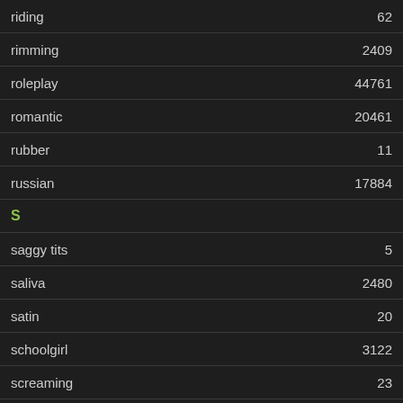riding  62
rimming  2409
roleplay  44761
romantic  20461
rubber  11
russian  17884
S
saggy tits  5
saliva  2480
satin  20
schoolgirl  3122
screaming  23
secretary  118
seduce  45
sensual
sex